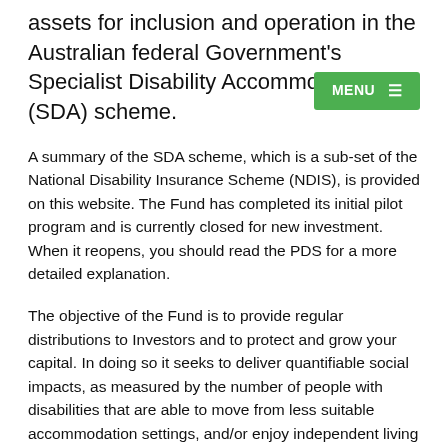assets for inclusion and operation in the Australian federal Government's Specialist Disability Accommodation (SDA) scheme.
A summary of the SDA scheme, which is a sub-set of the National Disability Insurance Scheme (NDIS), is provided on this website. The Fund has completed its initial pilot program and is currently closed for new investment. When it reopens, you should read the PDS for a more detailed explanation.
The objective of the Fund is to provide regular distributions to Investors and to protect and grow your capital. In doing so it seeks to deliver quantifiable social impacts, as measured by the number of people with disabilities that are able to move from less suitable accommodation settings, and/or enjoy independent living for the first time as a result of investments made by the Fund. The Fund may not be successful in achieving its target distribution rate or regular distributions.
With the Government having legislated 20-year funding lines to support their target of seeing enough new properties registered into the SDA scheme to support the accommodation needs of around 12,000 SDA Participants, the